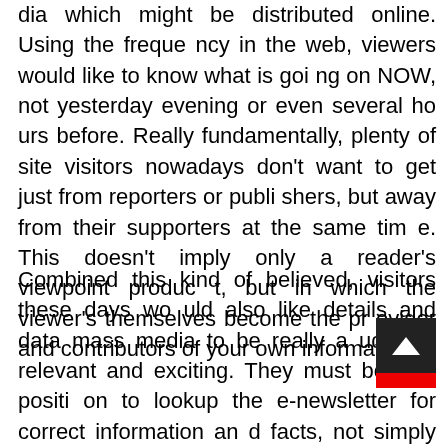dia which might be distributed online. Using the frequency in the web, viewers would like to know what is going on NOW, not yesterday evening or even several hours before. Really fundamentally, plenty of site visitors nowadays don't want to get just from reporters or publishers, but away from their supporters at the same time. This doesn't imply only a reader's viewpoint product, but in which the viewer's themselves become the provider and contributors of your own information.
Combined this kind of believed, visitors these days would also like details and data mass media to be really audience relevant and exciting. They must be in a position to lookup the e-newsletter for correct information and facts, not simply depend upon static tables of components, indexes or summaries. The vast majority of these readers' ideal functions call for media to have genuinely pleasurable across a true-time foundation. This will only be completed by means of digital publishing.